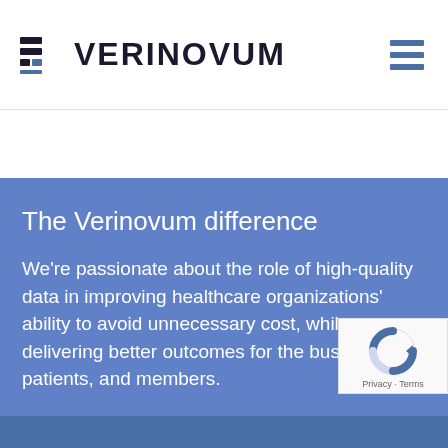[Figure (logo): Verinovum logo with stylized bar-lines icon and bold text VERINOVUM]
[Figure (other): Hamburger menu icon (three horizontal blue bars)]
The Verinovum difference
We're passionate about the role of high-quality data in improving healthcare organizations' ability to avoid unnecessary cost, while delivering better outcomes for the business, patients, and members.
[Figure (other): reCAPTCHA badge with blue/white logo and Privacy · Terms text]